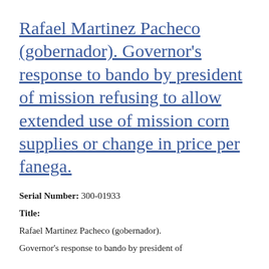Rafael Martinez Pacheco (gobernador). Governor's response to bando by president of mission refusing to allow extended use of mission corn supplies or change in price per fanega.
Serial Number: 300-01933
Title:
Rafael Martinez Pacheco (gobernador). Governor's response to bando by president of